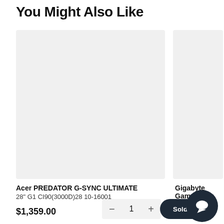You Might Also Like
[Figure (photo): Gray placeholder image box for Acer PREDATOR G-SYNC ULTIMATE product]
[Figure (photo): Gray placeholder image box for Gigabyte Gaming product (partially visible)]
Acer PREDATOR G-SYNC ULTIMATE
28" G1 CI90(3000D)28 10-16001
Gigabyte Gam...
$1,359.00
− 1 +
Sold Out